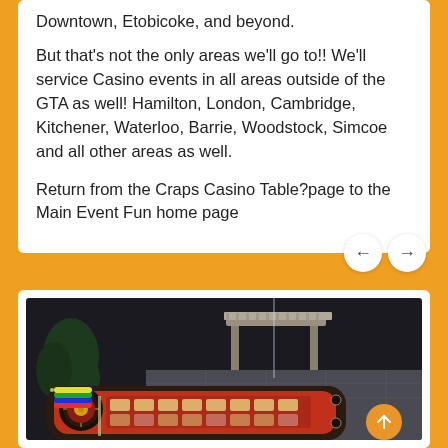Downtown, Etobicoke, and beyond.
But that's not the only areas we'll go to!! We'll service Casino events in all areas outside of the GTA as well! Hamilton, London, Cambridge, Kitchener, Waterloo, Barrie, Woodstock, Simcoe and all other areas as well.
Return from the Craps Casino Table?page to the Main Event Fun home page
[Figure (photo): Photo of a casino roulette/craps table with red felt surface, colorful chips, and a roulette wheel, set in an outdoor or glassed-in patio area at night with trees and a stone pergola in the background.]